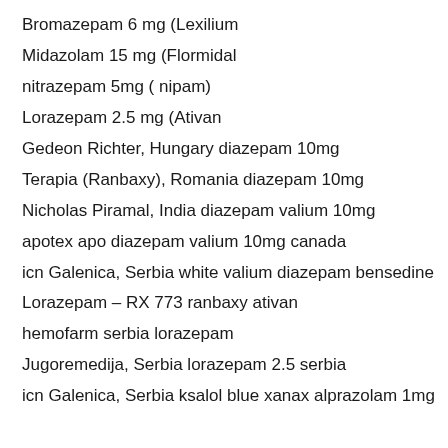Bromazepam 6 mg (Lexilium
Midazolam 15 mg (Flormidal
nitrazepam 5mg ( nipam)
Lorazepam 2.5 mg (Ativan
Gedeon Richter, Hungary diazepam 10mg
Terapia (Ranbaxy), Romania diazepam 10mg
Nicholas Piramal, India diazepam valium 10mg
apotex apo diazepam valium 10mg canada
icn Galenica, Serbia white valium diazepam bensedine
Lorazepam – RX 773 ranbaxy ativan
hemofarm serbia lorazepam
Jugoremedija, Serbia lorazepam 2.5 serbia
icn Galenica, Serbia ksalol blue xanax alprazolam 1mg